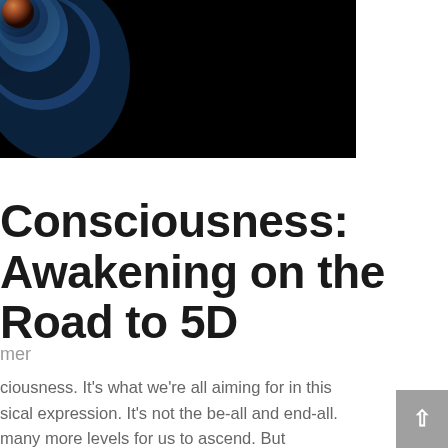[Figure (photo): Dark space/cosmic image showing a planet or celestial body with atmospheric glow on black background, cropped to upper portion]
Consciousness:
Awakening on the Road to 5D
mer
ciousness. It's what we're all aiming for in this sical expression. It's not the be-all and end-all. many more levels for us to ascend. But esent a quantum leap in the evolution of our ess in...